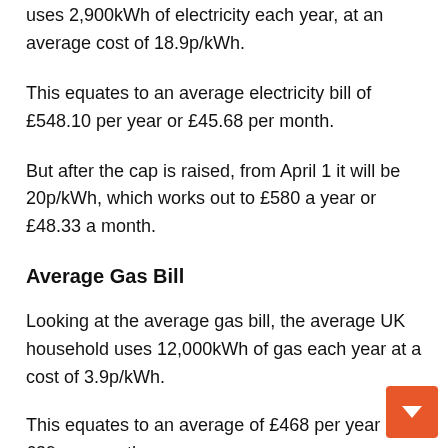uses 2,900kWh of electricity each year, at an average cost of 18.9p/kWh.
This equates to an average electricity bill of £548.10 per year or £45.68 per month.
But after the cap is raised, from April 1 it will be 20p/kWh, which works out to £580 a year or £48.33 a month.
Average Gas Bill
Looking at the average gas bill, the average UK household uses 12,000kWh of gas each year at a cost of 3.9p/kWh.
This equates to an average of £468 per year or £39 per month.